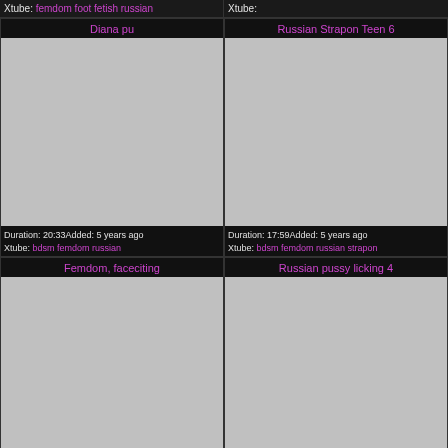Xtube: femdom foot fetish russian
Xtube:
Diana pu
[Figure (photo): Video thumbnail placeholder (grey)]
Duration: 20:33Added: 5 years ago
Xtube: bdsm femdom russian
Russian Strapon Teen 6
[Figure (photo): Video thumbnail placeholder (grey)]
Duration: 17:59Added: 5 years ago
Xtube: bdsm femdom russian strapon
Femdom, faceciting
[Figure (photo): Video thumbnail placeholder (grey)]
Russian pussy licking 4
[Figure (photo): Video thumbnail placeholder (grey)]